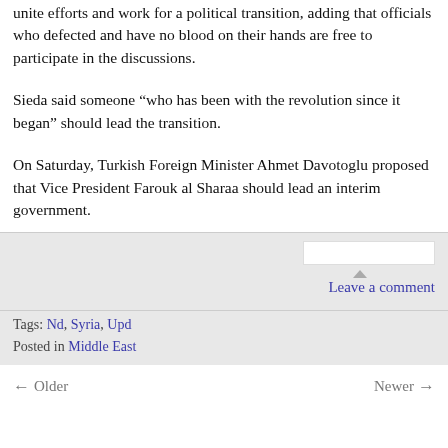unite efforts and work for a political transition, adding that officials who defected and have no blood on their hands are free to participate in the discussions.
Sieda said someone “who has been with the revolution since it began” should lead the transition.
On Saturday, Turkish Foreign Minister Ahmet Davotoglu proposed that Vice President Farouk al Sharaa should lead an interim government.
Leave a comment
Tags: Nd, Syria, Upd
Posted in Middle East
← Older   Newer →